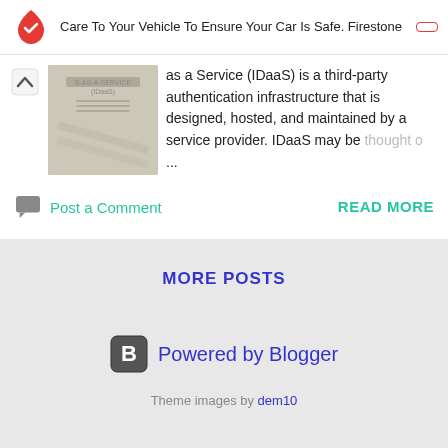Care To Your Vehicle To Ensure Your Car Is Safe. Firestone
as a Service (IDaaS) is a third-party authentication infrastructure that is designed, hosted, and maintained by a service provider. IDaaS may be thought o ...
Post a Comment
READ MORE
MORE POSTS
[Figure (logo): Powered by Blogger logo icon]
Powered by Blogger
Theme images by dem10